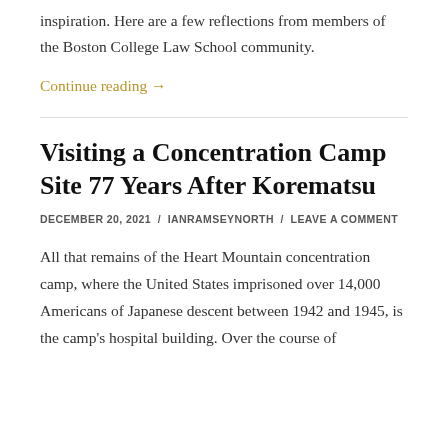inspiration. Here are a few reflections from members of the Boston College Law School community.
Continue reading →
Visiting a Concentration Camp Site 77 Years After Korematsu
DECEMBER 20, 2021 / IANRAMSEYNORTH / LEAVE A COMMENT
All that remains of the Heart Mountain concentration camp, where the United States imprisoned over 14,000 Americans of Japanese descent between 1942 and 1945, is the camp's hospital building. Over the course of